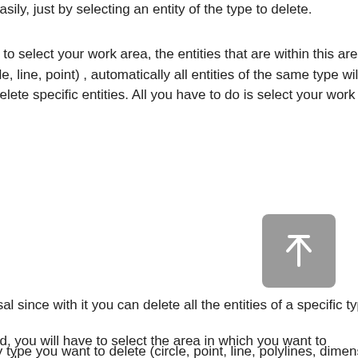easily, just by selecting an entity of the type to delete.
u to select your work area, the entities that are within this area will cle, line, point) , automatically all entities of the same type will be o delete specific entities. All you have to do is select your work area
[Figure (other): A grey rounded rectangle button with an upward arrow icon (scroll to top button)]
rsal since with it you can delete all the entities of a specific type fr
ed, you will have to select the area in which you want to work, any ge will be processed.
ty type you want to delete (circle, point, line, polylines, dimensions,